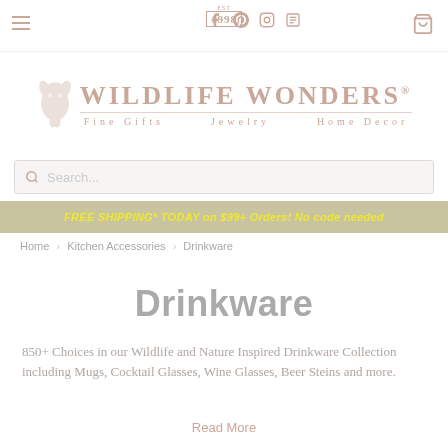Wildlife Wonders — Fine Gifts · Jewelry · Home Decor
Search...
FREE SHIPPING* TODAY on $99+ Orders! No code needed
Home > Kitchen Accessories > Drinkware
Drinkware
850+ Choices in our Wildlife and Nature Inspired Drinkware Collection including Mugs, Cocktail Glasses, Wine Glasses, Beer Steins and more.
Read More